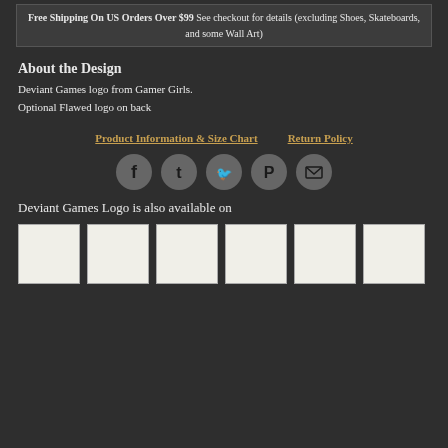Free Shipping On US Orders Over $99 See checkout for details (excluding Shoes, Skateboards, and some Wall Art)
About the Design
Deviant Games logo from Gamer Girls.
Optional Flawed logo on back
Product Information & Size Chart    Return Policy
[Figure (infographic): Row of 5 social media share icons: Facebook, Tumblr, Twitter, Pinterest, Email — each as a dark circle with white icon]
Deviant Games Logo is also available on
[Figure (infographic): Row of 6 white product thumbnail images showing available product options]